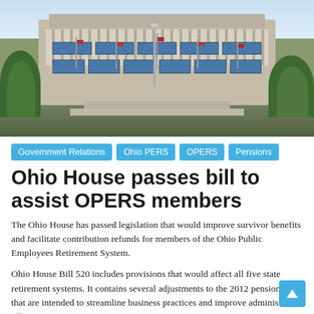[Figure (photo): Photograph of a government building (Ohio Statehouse) with columns, flags, trees, and green lawn.]
Government Relations
Ohio PERS
OPERS
Pensions
Ohio House passes bill to assist OPERS members
The Ohio House has passed legislation that would improve survivor benefits and facilitate contribution refunds for members of the Ohio Public Employees Retirement System.
Ohio House Bill 520 includes provisions that would affect all five state retirement systems. It contains several adjustments to the 2012 pension law that are intended to streamline business practices and improve administrative efficiency.